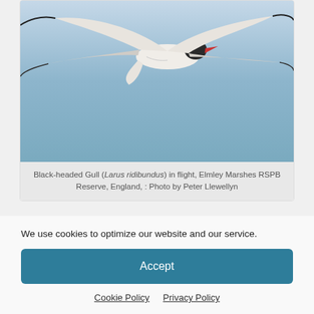[Figure (photo): Bird in flight against blue sky — Black-headed Gull (Larus ridibundus) flying, partially cropped at top]
Black-headed Gull (Larus ridibundus) in flight, Elmley Marshes RSPB Reserve, England, : Photo by Peter Llewellyn
Â Nikon D3, AF-S VR Nikkor 500mm f4G ED lens + TC14 converter, 1/2000th at f8, ISO 500, aperture priority automatic set to -2/3 stop to retain detail in white feathers, hand held
We use cookies to optimize our website and our service.
Accept
Cookie Policy   Privacy Policy